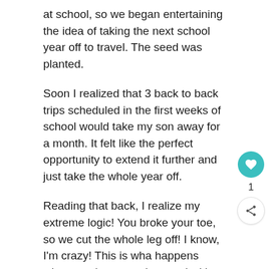at school, so we began entertaining the idea of taking the next school year off to travel. The seed was planted.
Soon I realized that 3 back to back trips scheduled in the first weeks of school would take my son away for a month. It felt like the perfect opportunity to extend it further and just take the whole year off.
Reading that back, I realize my extreme logic! You broke your toe, so we cut the whole leg off! I know, I'm crazy! This is wha happens when you become obsessed with travel.
The positives for doing it now – my son is in 2nd grade which is a great age to travel